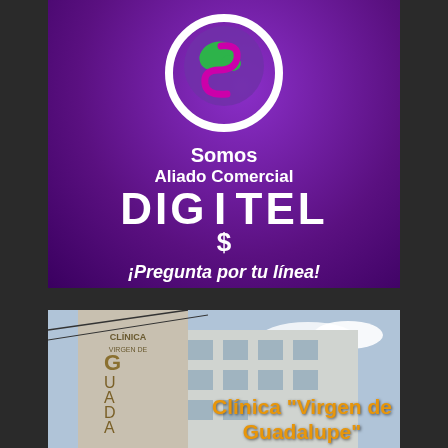[Figure (logo): Digitel commercial partner advertisement. Purple background with Digitel logo (globe with colored S), text: Somos Aliado Comercial DIGITEL ¡Pregunta por tu línea!]
[Figure (photo): Photo of a building with sign reading CLINICA VIRGEN DE GUADALUPE. Overlaid orange text: Clínica "Virgen de Guadalupe"]